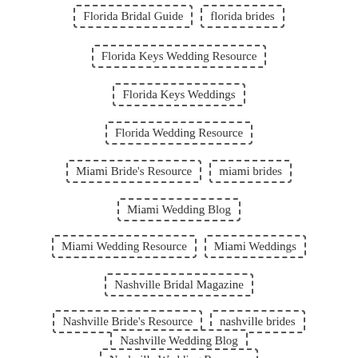Florida Bridal Guide
florida brides
Florida Keys Wedding Resource
Florida Keys Weddings
Florida Wedding Resource
Miami Bride's Resource
miami brides
Miami Wedding Blog
Miami Wedding Resource
Miami Weddings
Nashville Bridal Magazine
Nashville Bride's Resource
nashville brides
Nashville Wedding Blog
Nashville Wedding Resource